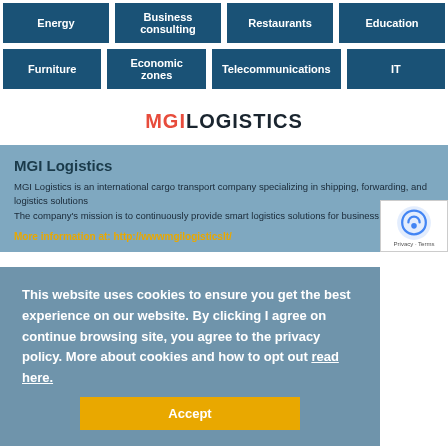Energy | Business consulting | Restaurants | Education
Furniture | Economic zones | Telecommunications | IT
[Figure (logo): MGI LOGISTICS logo in red and dark text]
MGI Logistics
MGI Logistics is an international cargo transport company specializing in shipping, forwarding, and logistics solutions The company's mission is to continuously provide smart logistics solutions for business
More information at: http://wwwmgilogisticslt/
This website uses cookies to ensure you get the best experience on our website. By clicking I agree on continue browsing site, you agree to the privacy policy. More about cookies and how to opt out read here.
Accept